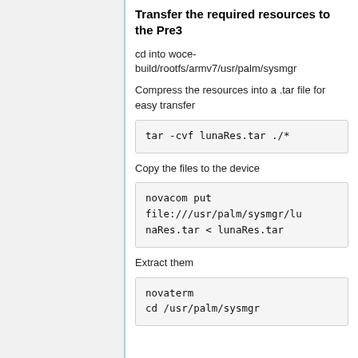Transfer the required resources to the Pre3
cd into woce-build/rootfs/armv7/usr/palm/sysmgr
Compress the resources into a .tar file for easy transfer
Copy the files to the device
Extract them